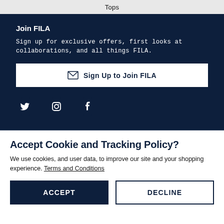Tops
Join FILA
Sign up for exclusive offers, first looks at collaborations, and all things FILA.
Sign Up to Join FILA
[Figure (infographic): Social media icons: Twitter, Instagram, Facebook in white on dark navy background]
Accept Cookie and Tracking Policy?
We use cookies, and user data, to improve our site and your shopping experience. Terms and Conditions
ACCEPT
DECLINE